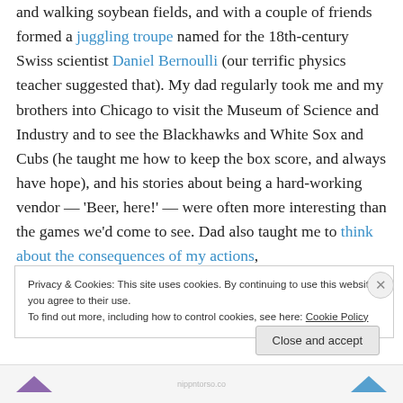and walking soybean fields, and with a couple of friends formed a juggling troupe named for the 18th-century Swiss scientist Daniel Bernoulli (our terrific physics teacher suggested that). My dad regularly took me and my brothers into Chicago to visit the Museum of Science and Industry and to see the Blackhawks and White Sox and Cubs (he taught me how to keep the box score, and always have hope), and his stories about being a hard-working vendor — 'Beer, here!' — were often more interesting than the games we'd come to see. Dad also taught me to think about the consequences of my actions,
Privacy & Cookies: This site uses cookies. By continuing to use this website, you agree to their use. To find out more, including how to control cookies, see here: Cookie Policy
Close and accept